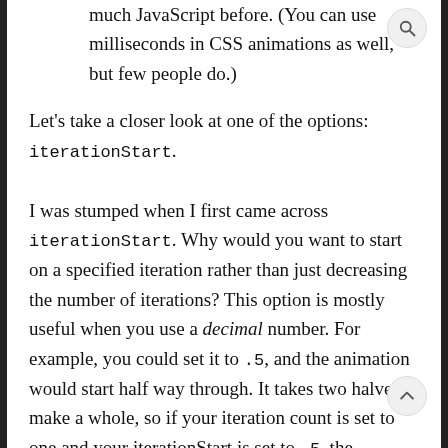much JavaScript before. (You can use milliseconds in CSS animations as well, but few people do.)
Let's take a closer look at one of the options: iterationStart.
I was stumped when I first came across iterationStart. Why would you want to start on a specified iteration rather than just decreasing the number of iterations? This option is mostly useful when you use a decimal number. For example, you could set it to .5, and the animation would start half way through. It takes two halves to make a whole, so if your iteration count is set to one and your iterationStart is set to .5, the animation will play from halfway through until the end of the